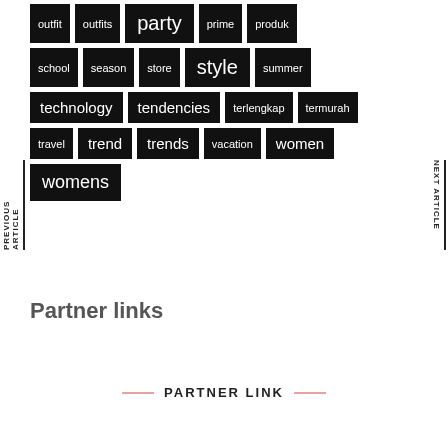outfit
outfits
party
prime
produk
school
season
store
style
summer
technology
tendencies
terlengkap
termurah
travel
trend
trends
vacation
women
womens
Partner links
PARTNER LINK